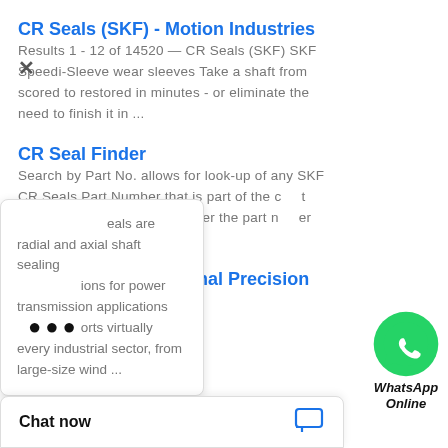CR Seals (SKF) - Motion Industries
Results 1 - 12 of 14520 — CR Seals (SKF) SKF Speedi-Sleeve wear sleeves Take a shaft from scored to restored in minutes - or eliminate the need to finish it in ...
CR Seal Finder
Search by Part No. allows for look-up of any SKF CR Seals Part Number that is part of the CR Seals Handbook. Just enter the part number and click ...
[Figure (illustration): WhatsApp green phone icon bubble with label WhatsApp Online in italic bold text]
SKF CR Seals | National Precision Bearing
...eals are radial and axial shaft sealing ...ions for power transmission applications ...orts virtually every industrial sector, from large-size wind ...
Chat now